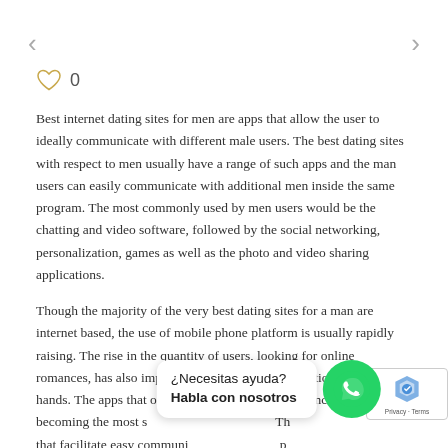<
>
[Figure (illustration): Heart/like icon with count 0]
Best internet dating sites for men are apps that allow the user to ideally communicate with different male users. The best dating sites with respect to men usually have a range of such apps and the man users can easily communicate with additional men inside the same program. The most commonly used by men users would be the chatting and video software, followed by the social networking, personalization, games as well as the photo and video sharing applications.
Though the majority of the very best dating sites for a man are internet based, the use of mobile phone platform is usually rapidly raising. The rise in the quantity of users, looking for online romances, has also improved the number of applications on their hands. The apps that offer easy access to such romances are quickly becoming the most s… Th… that facilitate easy communi… p… seeking for affairs are the th… …rog… in the smartphone segment.
¿Necesitas ayuda? Habla con nosotros
Privacy · Terms